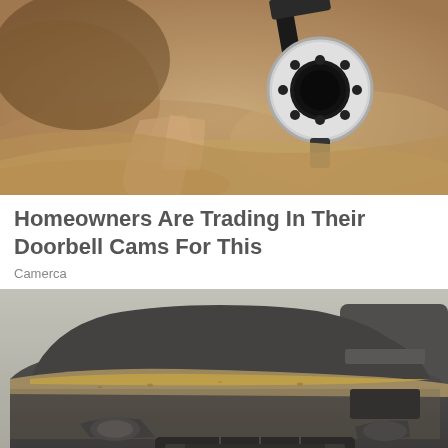[Figure (photo): Close-up of a security camera partially buried in sandy/muddy ground, showing the camera head with circular housing against a sandy background.]
Homeowners Are Trading In Their Doorbell Cams For This
Camerca
[Figure (photo): A dark grey Range Rover SUV covered in dust and sand, shown from the front. The hood and windshield area are coated with thick layers of sand and debris. Another dark vehicle is visible behind it on the right.]